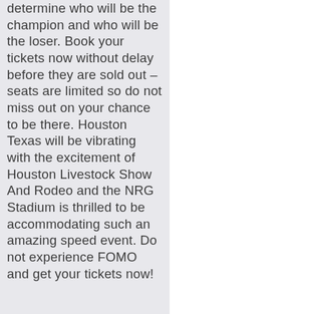determine who will be the champion and who will be the loser. Book your tickets now without delay before they are sold out – seats are limited so do not miss out on your chance to be there. Houston Texas will be vibrating with the excitement of Houston Livestock Show And Rodeo and the NRG Stadium is thrilled to be accommodating such an amazing speed event. Do not experience FOMO and get your tickets now!